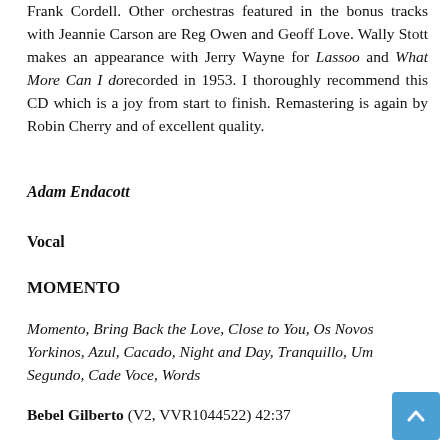Frank Cordell. Other orchestras featured in the bonus tracks with Jeannie Carson are Reg Owen and Geoff Love. Wally Stott makes an appearance with Jerry Wayne for Lassoo and What More Can I do recorded in 1953. I thoroughly recommend this CD which is a joy from start to finish. Remastering is again by Robin Cherry and of excellent quality.
Adam Endacott
Vocal
MOMENTO
Momento, Bring Back the Love, Close to You, Os Novos Yorkinos, Azul, Cacado, Night and Day, Tranquillo, Um Segundo, Cade Voce, Words
Bebel Gilberto (V2, VVR1044522) 42:37